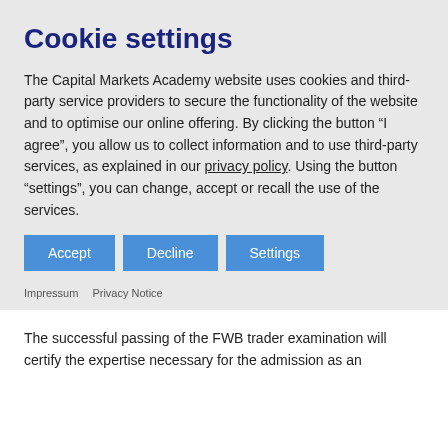Cookie settings
The Capital Markets Academy website uses cookies and third-party service providers to secure the functionality of the website and to optimise our online offering. By clicking the button “I agree”, you allow us to collect information and to use third-party services, as explained in our privacy policy. Using the button “settings”, you can change, accept or recall the use of the services.
Impressum  Privacy Notice
The successful passing of the FWB trader examination will certify the expertise necessary for the admission as an